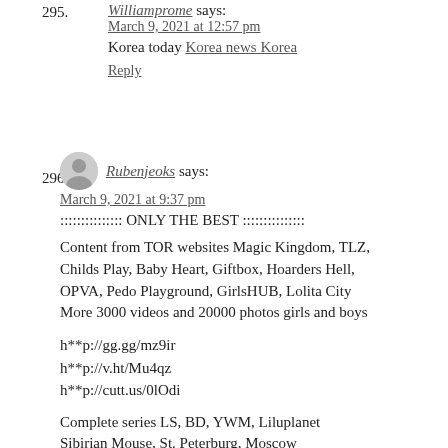295. Williamprome says:
March 9, 2021 at 12:57 pm
Korea today Korea news Korea
Reply
296. Rubenjeoks says:
March 9, 2021 at 9:37 pm
::::::::::::::: ONLY THE BEST :::::::::::::::
Content from TOR websites Magic Kingdom, TLZ, Childs Play, Baby Heart, Giftbox, Hoarders Hell, OPVA, Pedo Playground, GirlsHUB, Lolita City More 3000 videos and 20000 photos girls and boys
h**p://gg.gg/mz9ir
h**p://v.ht/Mu4qz
h**p://cutt.us/0lOdi
Complete series LS, BD, YWM, Liluplanet Sibirian Mouse, St. Peterburg, Moscow Kids Box, Fattman, Falkovideo, Bibigon Paradise Birds, GoldbergVideo, BabyJ
h**p://gg.gg/nq4lh
h**p://cpc.cx/tux